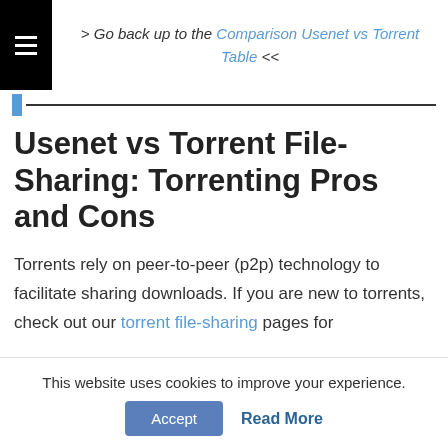> Go back up to the Comparison Usenet vs Torrent Table <<
Usenet vs Torrent File-Sharing: Torrenting Pros and Cons
Torrents rely on peer-to-peer (p2p) technology to facilitate sharing downloads. If you are new to torrents, check out our torrent file-sharing pages for
This website uses cookies to improve your experience.
Accept  Read More